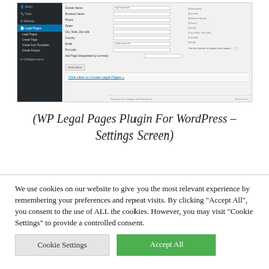[Figure (screenshot): Screenshot of WP Legal Pages Plugin for WordPress Settings Screen showing a WordPress admin sidebar with Legal Pages menu active, and a settings form with fields for Domain Name, Business Name, Phone, Street, City/State/Zip code, Country, Email, Pro-code, Add Page, with Save/Reset buttons and a 'Click Here to Create Legal Pages' link at the bottom.]
(WP Legal Pages Plugin For WordPress – Settings Screen)
We use cookies on our website to give you the most relevant experience by remembering your preferences and repeat visits. By clicking "Accept All", you consent to the use of ALL the cookies. However, you may visit "Cookie Settings" to provide a controlled consent.